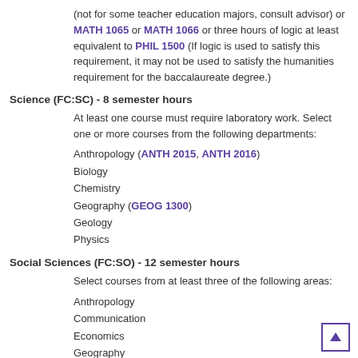(not for some teacher education majors, consult advisor) or MATH 1065 or MATH 1066 or three hours of logic at least equivalent to PHIL 1500 (If logic is used to satisfy this requirement, it may not be used to satisfy the humanities requirement for the baccalaureate degree.)
Science (FC:SC) - 8 semester hours
At least one course must require laboratory work. Select one or more courses from the following departments:
Anthropology (ANTH 2015, ANTH 2016)
Biology
Chemistry
Geography (GEOG 1300)
Geology
Physics
Social Sciences (FC:SO) - 12 semester hours
Select courses from at least three of the following areas:
Anthropology
Communication
Economics
Geography
History